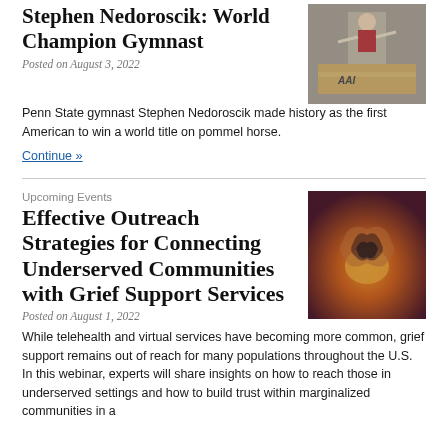Stephen Nedoroscik: World Champion Gymnast
Posted on August 3, 2022
[Figure (photo): Photo of gymnast Stephen Nedoroscik on a pommel horse with AAI branding visible]
Penn State gymnast Stephen Nedoroscik made history as the first American to win a world title on pommel horse.
Continue »
Upcoming Events
Effective Outreach Strategies for Connecting Underserved Communities with Grief Support Services
Posted on August 1, 2022
[Figure (photo): Photo of a sunset with a heart shape formed by hands]
While telehealth and virtual services have becoming more common, grief support remains out of reach for many populations throughout the U.S. In this webinar, experts will share insights on how to reach those in underserved settings and how to build trust within marginalized communities in a